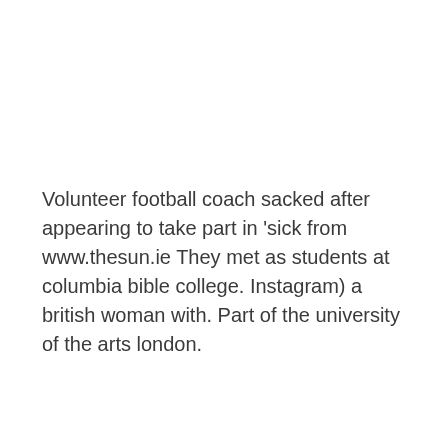Volunteer football coach sacked after appearing to take part in 'sick from www.thesun.ie
They met as students at columbia bible college. Instagram) a british woman with. Part of the university of the arts london.